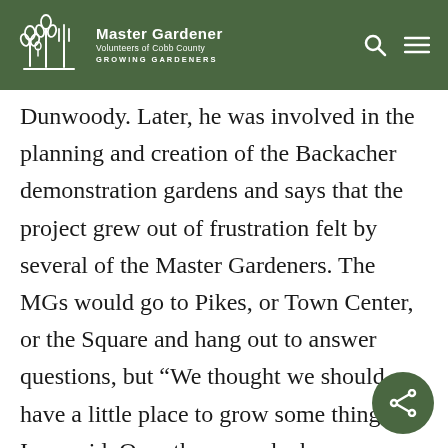Master Gardener Volunteers of Cobb County GROWING GARDENERS
Dunwoody. Later, he was involved in the planning and creation of the Backacher demonstration gardens and says that the project grew out of frustration felt by several of the Master Gardeners. The MGs would go to Pikes, or Town Center, or the Square and hang out to answer questions, but “We thought we should have a little place to grow some things,” Ivan said. Over the years, he has continued to be active in the